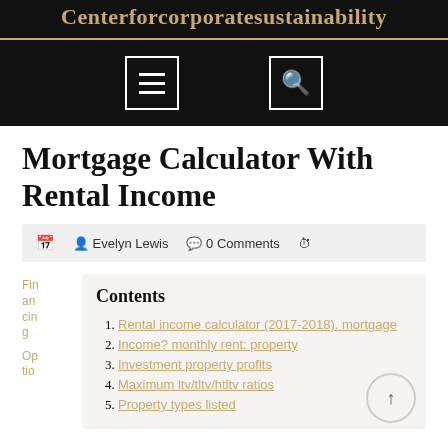Centerforcorporatesustainability
Mortgage Calculator With Rental Income
Evelyn Lewis  0 Comments
Contents
1. Rental income calculator (2017-2018). mortgage
2. Income? monthly rent: property
3. Investment property profits
4. Maximum ltv/tltv/htltv ratios
5. Property types listed
Financing
Options